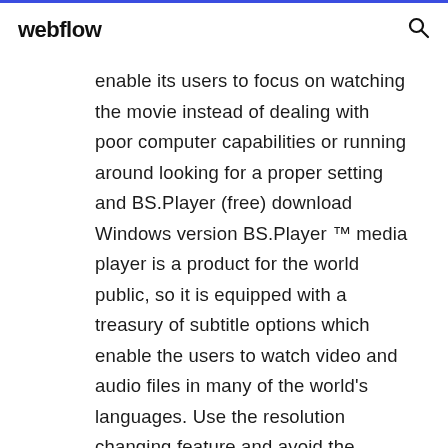webflow
enable its users to focus on watching the movie instead of dealing with poor computer capabilities or running around looking for a proper setting and BS.Player (free) download Windows version BS.Player ™ media player is a product for the world public, so it is equipped with a treasury of subtitle options which enable the users to watch video and audio files in many of the world's languages. Use the resolution changing feature and avoid the oversized picture if you wish to watch your movie on your TV screen, projector or plasma screen. Download BS.Player PRO 2.73 Build 1084 - softpedia 19/12/2018 · Download BS.Player PRO - A powerful multimedia player